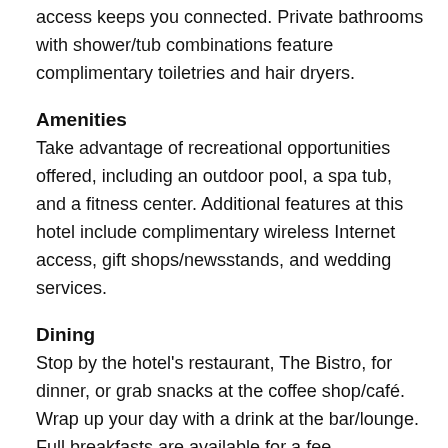access keeps you connected. Private bathrooms with shower/tub combinations feature complimentary toiletries and hair dryers.
Amenities
Take advantage of recreational opportunities offered, including an outdoor pool, a spa tub, and a fitness center. Additional features at this hotel include complimentary wireless Internet access, gift shops/newsstands, and wedding services.
Dining
Stop by the hotel's restaurant, The Bistro, for dinner, or grab snacks at the coffee shop/café. Wrap up your day with a drink at the bar/lounge. Full breakfasts are available for a fee.
Business, Other Amenities
Featured amenities include complimentary wired Internet